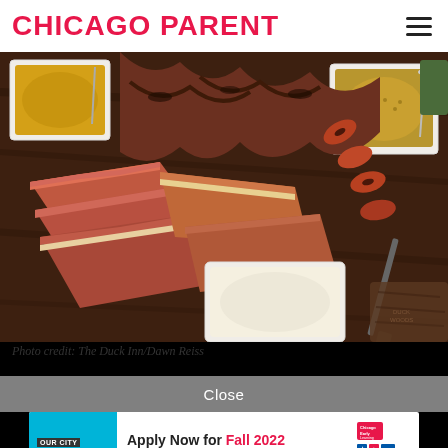CHICAGO PARENT
[Figure (photo): A platter of BBQ meats including brisket, ribs, and sausage on a wooden cutting board, with small white dishes of mustard and dipping sauces.]
Photo credit: The Duck Inn/Dawn Reiss
Close
[Figure (infographic): Chicago Early Learning advertisement banner: 'OUR CITY Our Children OUR FUTURE' on cyan background. Text: Apply Now for Fall 2022. Citywide early learning applications for children up to age five are open: Chicagoearlylearning.org (312) 229-1690. Chicago Early Learning logo and partner logos.]